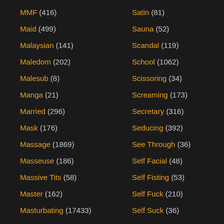MMF (416)
Maid (499)
Malaysian (141)
Maledom (202)
Malesub (8)
Manga (21)
Married (296)
Mask (176)
Massage (1869)
Masseuse (186)
Massive Tits (58)
Master (162)
Masturbating (17433)
Masturbation Instructions (200)
Masturbation Solo (1181)
Mature (11380)
Satin (81)
Sauna (52)
Scandal (119)
School (1062)
Scissoring (34)
Screaming (173)
Secretary (316)
Seducing (392)
See Through (36)
Self Facial (48)
Self Fisting (53)
Self Fuck (210)
Self Suck (36)
Sensual (631)
Serbian (363)
Sex Game (34)